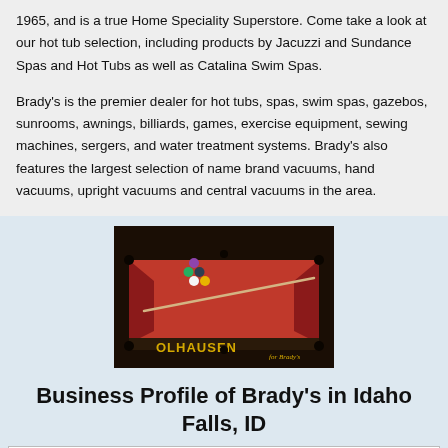1965, and is a true Home Speciality Superstore. Come take a look at our hot tub selection, including products by Jacuzzi and Sundance Spas and Hot Tubs as well as Catalina Swim Spas.

Brady's is the premier dealer for hot tubs, spas, swim spas, gazebos, sunrooms, awnings, billiards, games, exercise equipment, sewing machines, sergers, and water treatment systems. Brady's also features the largest selection of name brand vacuums, hand vacuums, upright vacuums and central vacuums in the area.
[Figure (photo): Photo of an Olhausen billiard/pool table with a red felt surface, racked pool balls, and a cue stick resting on the table. The Olhausen brand name is visible on the side rail in gold lettering.]
Business Profile of Brady's in Idaho Falls, ID
| Office Type: | Inventory: |
| --- | --- |
| Sales & Service | • Hot Tubs |